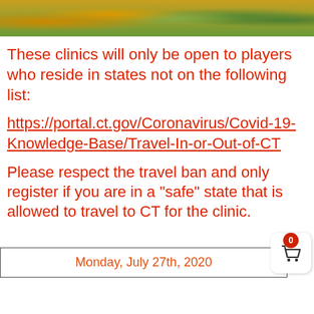[Figure (photo): Aerial or landscape photo of autumn trees with orange, yellow, and green foliage against a hillside]
These clinics will only be open to players who reside in states not on the following list:
https://portal.ct.gov/Coronavirus/Covid-19-Knowledge-Base/Travel-In-or-Out-of-CT
Please respect the travel ban and only register if you are in a "safe" state that is allowed to travel to CT for the clinic.
Monday, July 27th, 2020